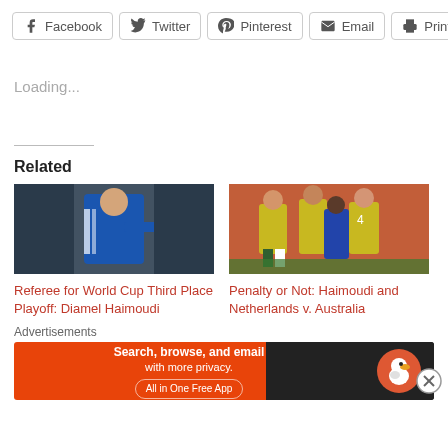[Figure (screenshot): Row of social share buttons: Facebook, Twitter, Pinterest, Email, Print]
Loading...
Related
[Figure (photo): Soccer referee in blue Adidas jersey pointing, World Cup related image]
Referee for World Cup Third Place Playoff: Diamel Haimoudi
[Figure (photo): Australian soccer players in yellow jerseys celebrating, Netherlands v. Australia World Cup]
Penalty or Not: Haimoudi and Netherlands v. Australia
Advertisements
[Figure (screenshot): DuckDuckGo advertisement banner: Search, browse, and email with more privacy. All in One Free App]